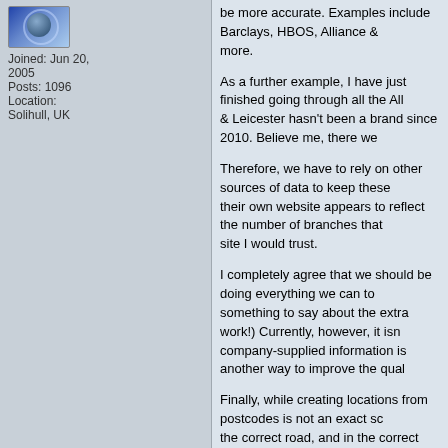[Figure (photo): Avatar image with blue circular graphic]
Joined: Jun 20, 2005
Posts: 1096
Location: Solihull, UK
be more accurate. Examples include Barclays, HBOS, Alliance & Leicester hasn't been a brand since 2010. Believe me, there we more.
As a further example, I have just finished going through all the All & Leicester hasn't been a brand since 2010. Believe me, there we
Therefore, we have to rely on other sources of data to keep these their own website appears to reflect the number of branches that site I would trust.
I completely agree that we should be doing everything we can to something to say about the extra work!) Currently, however, it isn company-supplied information is another way to improve the qual
Finally, while creating locations from postcodes is not an exact sc the correct road, and in the correct approximate location. Using p will adjust the positions over the course of time. Also, if creating P locations (as long as we bear in mind that the photos are a little o work can be done remotely without the need to visit each POI ind
Garmin DriveSmart 50 LMT-D
Back to top
[Figure (screenshot): Profile button]
[Figure (screenshot): PM button]
Andy_P
Pocket GPS Moderator
Posted: Thu Feb 16, 2012 1:47 am    Post subject: